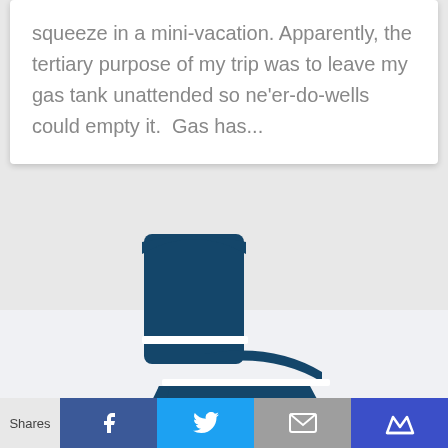squeeze in a mini-vacation. Apparently, the tertiary purpose of my trip was to leave my gas tank unattended so ne'er-do-wells could empty it.  Gas has...
[Figure (illustration): Dark blue flat icon of a toilet (side view) showing tank and bowl against a light gray background.]
Shares
[Figure (infographic): Social share bar with four buttons: Facebook (dark blue, f icon), Twitter (light blue, bird icon), Email (gray, envelope icon), Wimp (dark blue, crown icon).]